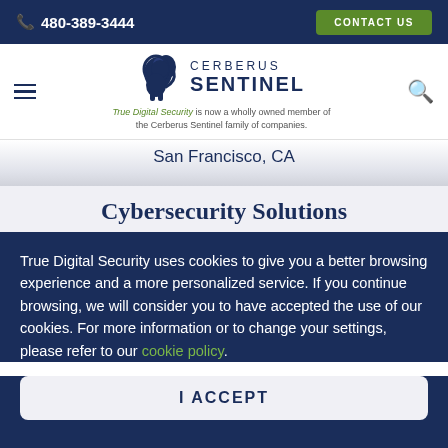📞 480-389-3444  CONTACT US
[Figure (logo): Cerberus Sentinel logo with lion figure. Text: CERBERUS SENTINEL. Tagline: True Digital Security is now a wholly owned member of the Cerberus Sentinel family of companies.]
San Francisco, CA
Cybersecurity Solutions
True Digital Security uses cookies to give you a better browsing experience and a more personalized service. If you continue browsing, we will consider you to have accepted the use of our cookies. For more information or to change your settings, please refer to our cookie policy.
I ACCEPT